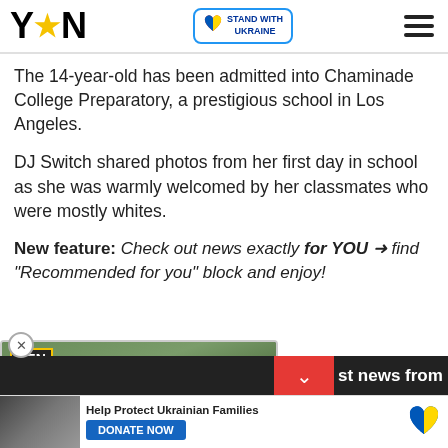YEN | STAND WITH UKRAINE
The 14-year-old has been admitted into Chaminade College Preparatory, a prestigious school in Los Angeles.
DJ Switch shared photos from her first day in school as she was warmly welcomed by her classmates who were mostly whites.
New feature: Check out news exactly for YOU → find "Recommended for you" block and enjoy!
[Figure (screenshot): Video thumbnail showing a man being interviewed on a road, with YEN logo overlay, play button, and caption: MAJOR SINKHOLE DEVELOPS ON THE MADINA-TETTEH QUARSHIE HIGHWAY]
st news from our Editor-
Help Protect Ukrainian Families DONATE NOW